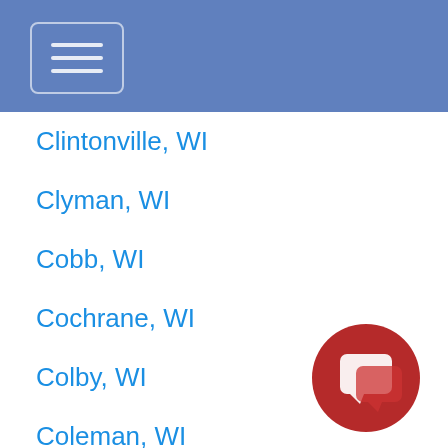Navigation menu header bar
Clintonville, WI
Clyman, WI
Cobb, WI
Cochrane, WI
Colby, WI
Coleman, WI
Colfax, WI
Colgate, WI
[Figure (illustration): Red circular chat/message button icon in bottom right corner]